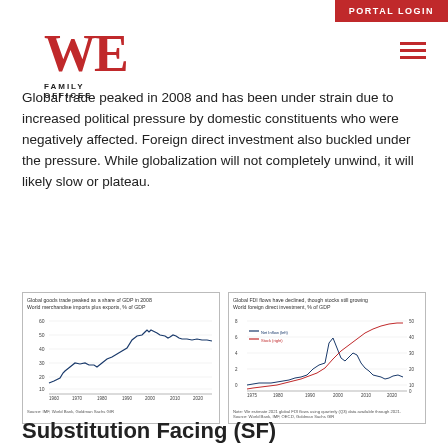PORTAL LOGIN
[Figure (logo): WE Family Offices logo in red]
Global trade peaked in 2008 and has been under strain due to increased political pressure by domestic constituents who were negatively affected. Foreign direct investment also buckled under the pressure. While globalization will not completely unwind, it will likely slow or plateau.
[Figure (line-chart): Global goods trade peaked as a share of GDP in 2008
World merchandise imports plus exports, % of GDP]
[Figure (line-chart): Global FDI flows have declined, though stocks still growing
World foreign direct investment, % of GDP]
Substitution Facing (SF)